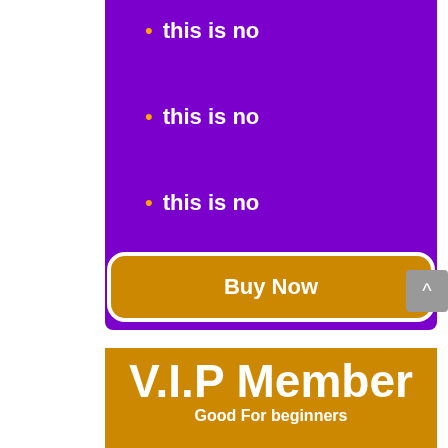this is no
this is no
this is no
Buy Now
V.I.P Member
Good For beginners